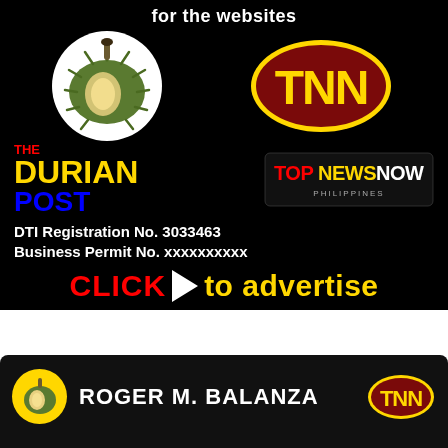for the websites
[Figure (infographic): Black advertisement banner for The Durian Post and Top News Now Philippines websites. Contains durian fruit in white circle, TNN logo (yellow letters on dark red oval), The Durian Post text branding (THE in red, DURIAN in yellow, POST in blue), TopNewsNow Philippines logo, DTI Registration No. 3033463, Business Permit No. xxxxxxxxxx, and 'CLICK to advertise' call to action with play button arrow.]
[Figure (infographic): Partial second advertisement banner showing small durian circle logo, ROGER M. BALANZA text, and partial TNN logo on black background.]